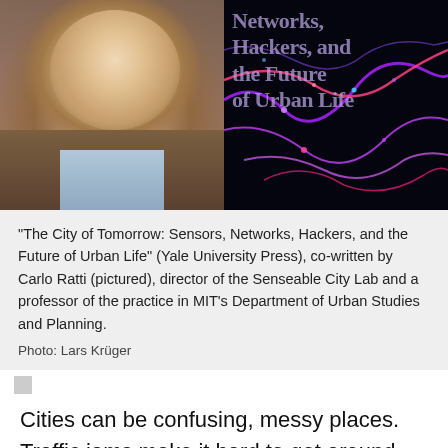[Figure (photo): Left half: headshot of Carlo Ratti, a man in a brown jacket and light blue shirt. Right half: dark book cover with colorful urban network visualization and text 'Networks, Hackers, and the Future of Urban Life'.]
“The City of Tomorrow: Sensors, Networks, Hackers, and the Future of Urban Life” (Yale University Press), co-written by Carlo Ratti (pictured), director of the Senseable City Lab and a professor of the practice in MIT’s Department of Urban Studies and Planning.
Photo: Lars Krüger
Cities can be confusing, messy places. Traffic jams make it hard to get around. Public transit can be puzzling. Trash piles up. So what can make cities function better?